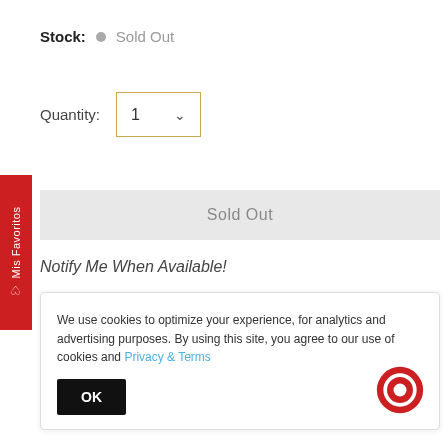Stock: • Sold Out
Quantity: 1
Sold Out
Notify Me When Available!
Add to Wishlist
Mis Favoritos
We use cookies to optimize your experience, for analytics and advertising purposes. By using this site, you agree to our use of cookies and Privacy & Terms
OK